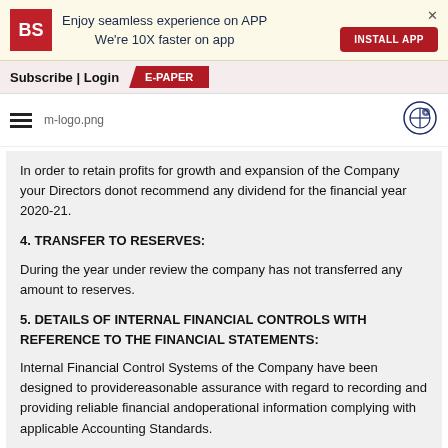[Figure (logo): Business Standard app install banner with BS logo, text 'Enjoy seamless experience on APP We're 10X faster on app', INSTALL APP button, and close X]
Subscribe | Login   E-PAPER
[Figure (logo): Hamburger menu icon, m-logo.png image placeholder, share icon]
In order to retain profits for growth and expansion of the Company your Directors donot recommend any dividend for the financial year 2020-21.
4. TRANSFER TO RESERVES:
During the year under review the company has not transferred any amount to reserves.
5. DETAILS OF INTERNAL FINANCIAL CONTROLS WITH REFERENCE TO THE FINANCIAL STATEMENTS:
Internal Financial Control Systems of the Company have been designed to providereasonable assurance with regard to recording and providing reliable financial andoperational information complying with applicable Accounting Standards.